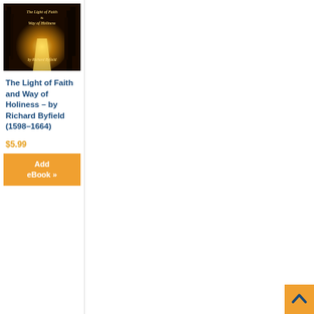[Figure (illustration): Book cover of 'The Light of Faith and Way of Holiness' by Richard Byfield, showing a glowing golden path through dark trees]
The Light of Faith and Way of Holiness – by Richard Byfield (1598–1664)
$5.99
Add eBook »